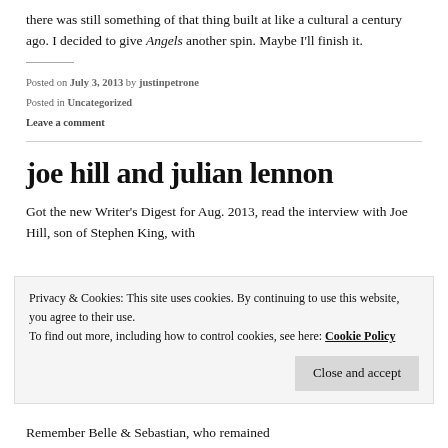there was still something of that thing built at like a cultural a century ago. I decided to give Angels another spin. Maybe I'll finish it.
Posted on July 3, 2013 by justinpetrone
Posted in Uncategorized
Leave a comment
joe hill and julian lennon
Got the new Writer's Digest for Aug. 2013, read the interview with Joe Hill, son of Stephen King, with
Privacy & Cookies: This site uses cookies. By continuing to use this website, you agree to their use.
To find out more, including how to control cookies, see here: Cookie Policy
Remember Belle & Sebastian, who remained